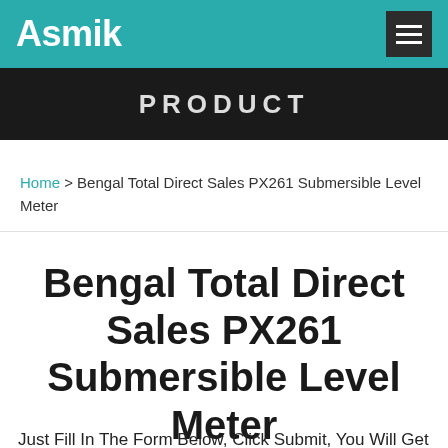Asmik
[Figure (screenshot): Dark banner image with the word PRODUCT in white capital letters]
Home > Bengal Total Direct Sales PX261 Submersible Level Meter
Bengal Total Direct Sales PX261 Submersible Level Meter
Just Fill In The Form Below, Click Submit, You Will Get